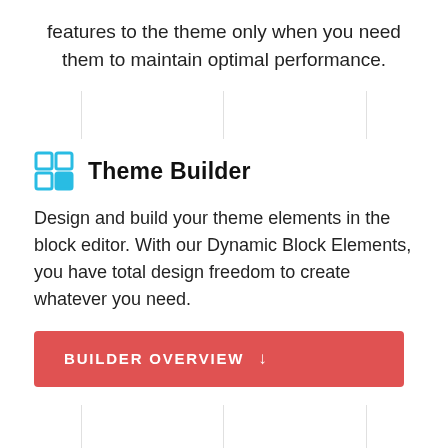features to the theme only when you need them to maintain optimal performance.
Theme Builder
Design and build your theme elements in the block editor. With our Dynamic Block Elements, you have total design freedom to create whatever you need.
BUILDER OVERVIEW ↓